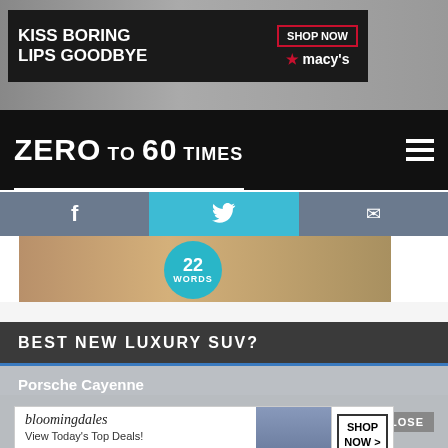[Figure (photo): Macy's advertisement banner: 'KISS BORING LIPS GOODBYE' with woman's lips and SHOP NOW button, overlaid on a car background image]
[Figure (logo): Zero to 60 Times website logo/navigation bar with hamburger menu icon]
[Figure (screenshot): Social media bar with Facebook, Twitter, and email icons on blue-grey background]
[Figure (photo): Secondary advertisement banner with '22 Words' circular badge on a warm-toned lifestyle photo]
BEST NEW LUXURY SUV?
Porsche Cayenne
Range Rover Velar
BMW X5
[Figure (photo): Bloomingdale's advertisement popup: 'bloomingdales View Today's Top Deals!' with SHOP NOW button]
Audi